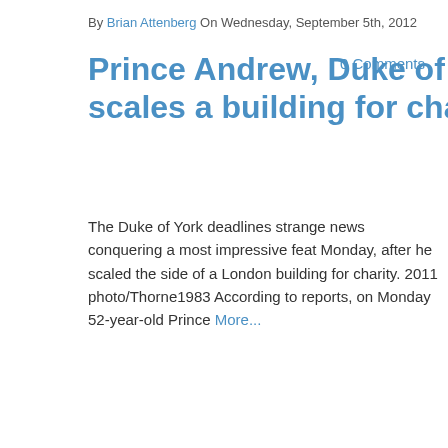By Brian Attenberg On Wednesday, September 5th, 2012
Prince Andrew, Duke of York, scales a building for charity
0 Comments
The Duke of York deadlines strange news conquering a most impressive feat Monday, after he scaled the side of a London building for charity. 2011 photo/Thorne1983 According to reports, on Monday 52-year-old Prince More...